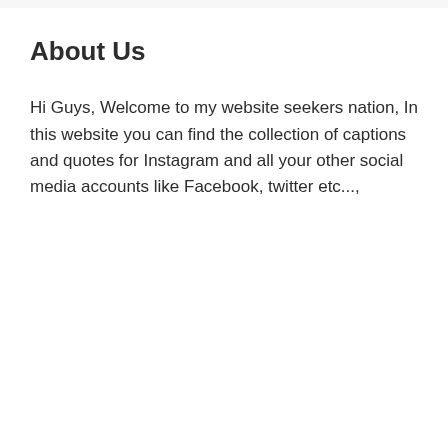About Us
Hi Guys, Welcome to my website seekers nation, In this website you can find the collection of captions and quotes for Instagram and all your other social media accounts like Facebook, twitter etc...,